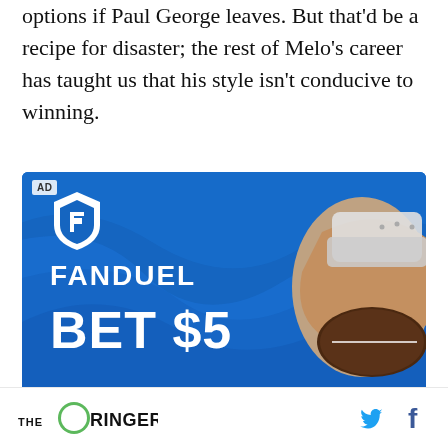options if Paul George leaves. But that'd be a recipe for disaster; the rest of Melo's career has taught us that his style isn't conducive to winning.
[Figure (advertisement): FanDuel advertisement on a blue background with swirl pattern. Shows FanDuel shield logo, the text 'FANDUEL', and large text 'BET $5'. A hand holding a football is visible on the right side.]
THE RINGER [logo] [Twitter icon] [Facebook icon]